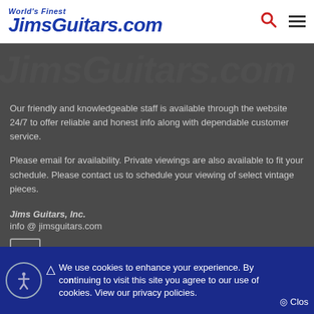World's Finest JimsGuitars.com
[Figure (logo): JimsGuitars.com large italic background watermark text in gray]
Our friendly and knowledgeable staff is available through the website 24/7 to offer reliable and honest info along with dependable customer service.
Please email for availability. Private viewings are also available to fit your schedule. Please contact us to schedule your viewing of select vintage pieces.
Jims Guitars, Inc.
info @ jimsguitars.com
[Figure (illustration): Facebook icon box with letter f]
We use cookies to enhance your experience. By continuing to visit this site you agree to our use of cookies. View our privacy policies. Close